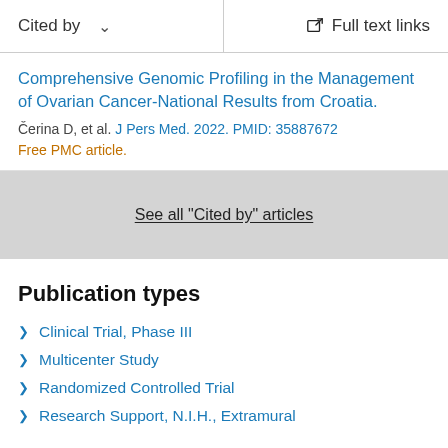Cited by   Full text links
Comprehensive Genomic Profiling in the Management of Ovarian Cancer-National Results from Croatia.
Čerina D, et al. J Pers Med. 2022. PMID: 35887672
Free PMC article.
See all "Cited by" articles
Publication types
Clinical Trial, Phase III
Multicenter Study
Randomized Controlled Trial
Research Support, N.I.H., Extramural